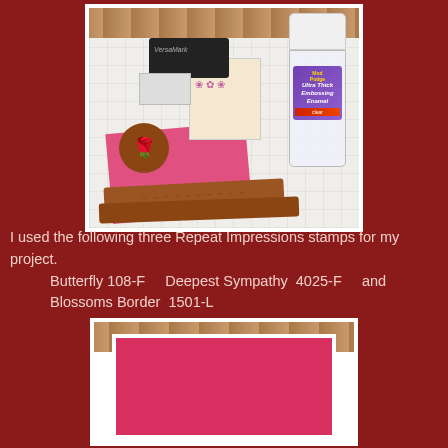[Figure (photo): Crafting supplies laid out on a white surface: rubber stamps including a rose and border stamp, a black VersaMark ink pad, a small white ink pad, floral patterned paper, a pink card base, and a large bottle of Ultra Thick Embossing Enamel powder with purple label.]
I used the following three Repeat Impressions stamps for my project.
Butterfly 108-F    Deepest Sympathy  4025-F    and Blossoms Border  1501-L
[Figure (photo): A pink/magenta folded card blank shown against a wooden background with a white mat border.]